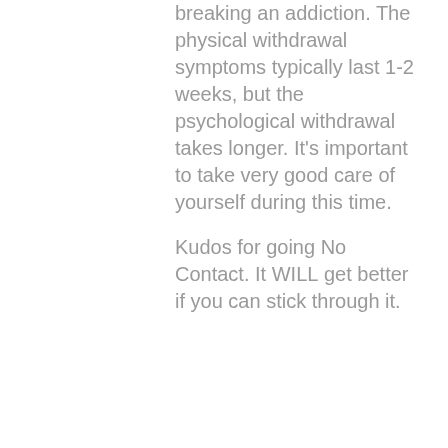breaking an addiction. The physical withdrawal symptoms typically last 1-2 weeks, but the psychological withdrawal takes longer. It's important to take very good care of yourself during this time.
Kudos for going No Contact. It WILL get better if you can stick through it.